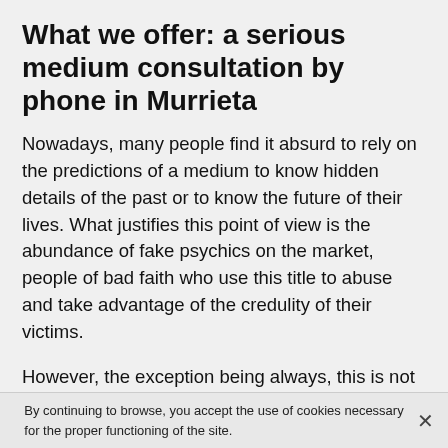What we offer: a serious medium consultation by phone in Murrieta
Nowadays, many people find it absurd to rely on the predictions of a medium to know hidden details of the past or to know the future of their lives. What justifies this point of view is the abundance of fake psychics on the market, people of bad faith who use this title to abuse and take advantage of the credulity of their victims.
However, the exception being always, this is not a sufficient point to lose confidence in these exercises that will undoubtedly benefit you. Thus, do not hesitate to consult us if you feel stressed, lost or unlucky, in order to discover the meaning of the events that arise in your life. In addition, it is very helpful because you need to realize that you are not alone in the situations you face. Many people
By continuing to browse, you accept the use of cookies necessary for the proper functioning of the site.